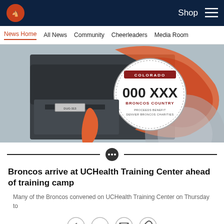Denver Broncos navigation bar with Shop and menu
News Home | All News | Community | Cheerleaders | Media Room
[Figure (photo): Colorado Broncos Country license plate promotional image showing a truck with a circular license plate graphic reading '000-XXX Broncos Country - Proceeds Benefit Denver Broncos Charities' over an orange and grey swirl background]
Broncos arrive at UCHealth Training Center ahead of training camp
Many of the Broncos convened on UCHealth Training Center on Thursday to
[Figure (infographic): Social sharing icons row: Facebook, Twitter, Email, Link]